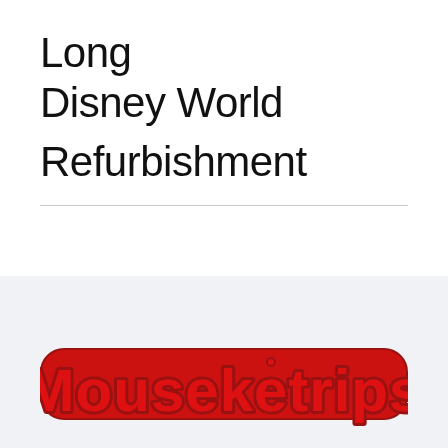Long Disney World Refurbishment
[Figure (logo): Mouseketrips logo in red rounded bubble letters with dark red outline]
If you are planning a Disney vacation, you have to contact Mouseketrips and find out how they can help you have a much better trip for less money.